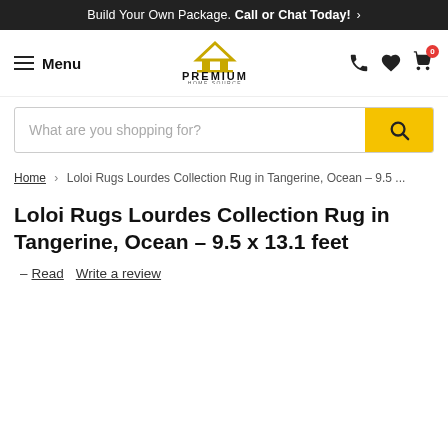Build Your Own Package. Call or Chat Today! >
[Figure (logo): Premium Home Source logo with roof/house icon in gold and black text]
What are you shopping for?
Home › Loloi Rugs Lourdes Collection Rug in Tangerine, Ocean – 9.5 ...
Loloi Rugs Lourdes Collection Rug in Tangerine, Ocean – 9.5 x 13.1 feet
– Read   Write a review